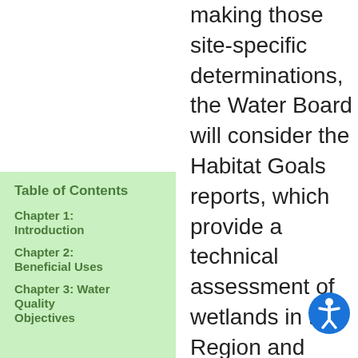making those site-specific determinations, the Water Board will consider the Habitat Goals reports, which provide a technical assessment of wetlands in the Region and their existing and potential beneficial
Table of Contents
Chapter 1: Introduction
Chapter 2: Beneficial Uses
Chapter 3: Water Quality Objectives